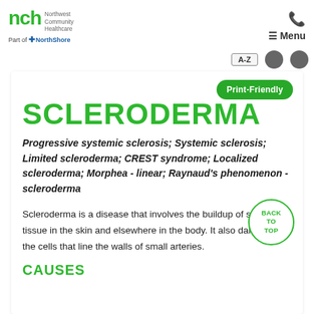nch Northwest Community Healthcare — Part of NorthShore — Menu
SCLERODERMA
Progressive systemic sclerosis; Systemic sclerosis; Limited scleroderma; CREST syndrome; Localized scleroderma; Morphea - linear; Raynaud's phenomenon - scleroderma
Scleroderma is a disease that involves the buildup of scar-like tissue in the skin and elsewhere in the body. It also damages the cells that line the walls of small arteries.
CAUSES